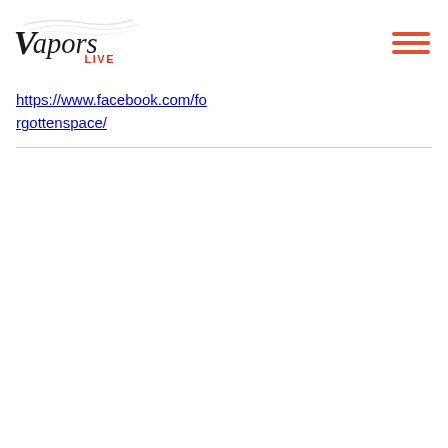Vapors Live logo and navigation
https://www.facebook.com/forgottenspace/